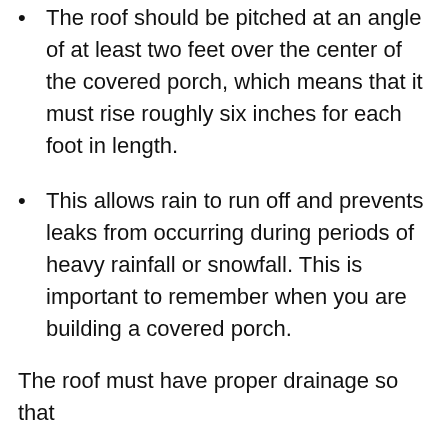The roof should be pitched at an angle of at least two feet over the center of the covered porch, which means that it must rise roughly six inches for each foot in length.
This allows rain to run off and prevents leaks from occurring during periods of heavy rainfall or snowfall. This is important to remember when you are building a covered porch.
The roof must have proper drainage so that